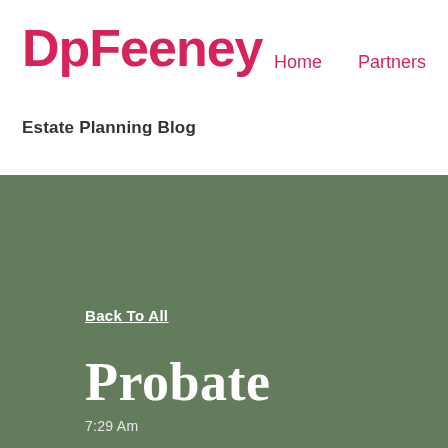DpFeeney
Home    Partners
Estate Planning Blog
Back To All
Probate
7:29 Am